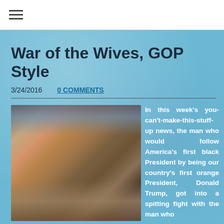≡
War of the Wives, GOP Style
3/24/2016   0 COMMENTS
[Figure (photo): A photograph of a woman posed on fur, appearing to be on a private jet]
In this week's you-can't-make-this-stuff-up news, the man who would follow America's first black President by being our country's first orange President, Donald Trump, got into a spitting fight with the man who